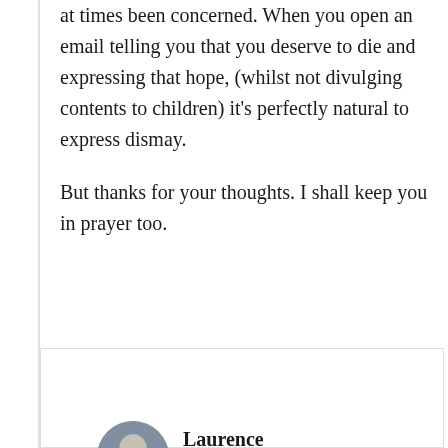at times been concerned. When you open an email telling you that you deserve to die and expressing that hope, (whilst not divulging contents to children) it's perfectly natural to express dismay.
But thanks for your thoughts. I shall keep you in prayer too.
↳ Reply
Laurence Boyce
May 13, 2013 at